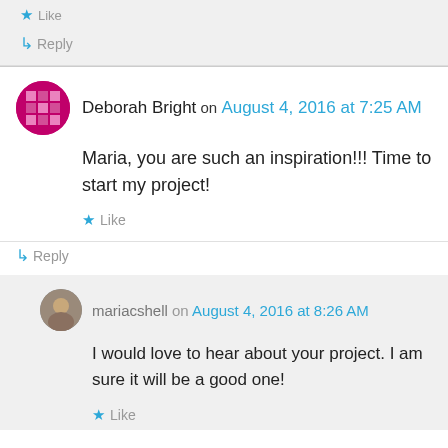Like
↳ Reply
Deborah Bright on August 4, 2016 at 7:25 AM
Maria, you are such an inspiration!!! Time to start my project!
Like
↳ Reply
mariacshell on August 4, 2016 at 8:26 AM
I would love to hear about your project. I am sure it will be a good one!
Like